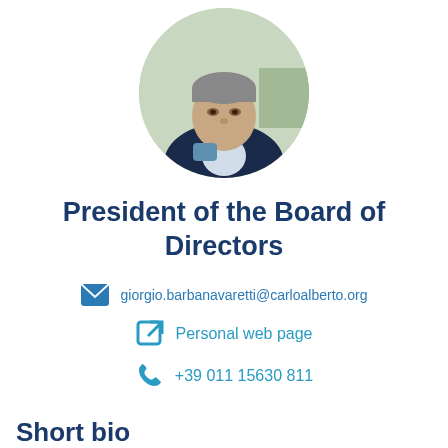[Figure (photo): Circular portrait photo of a man in a suit with hand near chin, thinking pose]
President of the Board of Directors
giorgio.barbanavaretti@carloalberto.org
Personal web page
+39 011 15630 811
Short bio